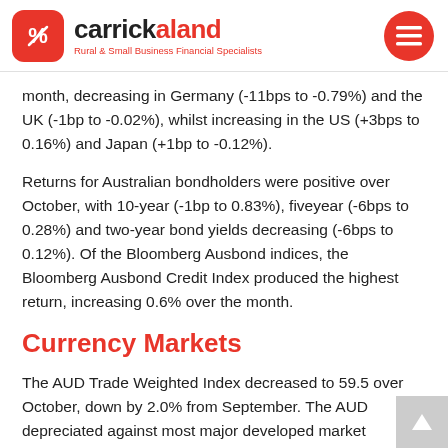carrickaland — Rural & Small Business Financial Specialists
month, decreasing in Germany (-11bps to -0.79%) and the UK (-1bp to -0.02%), whilst increasing in the US (+3bps to 0.16%) and Japan (+1bp to -0.12%).
Returns for Australian bondholders were positive over October, with 10-year (-1bp to 0.83%), fiveyear (-6bps to 0.28%) and two-year bond yields decreasing (-6bps to 0.12%). Of the Bloomberg Ausbond indices, the Bloomberg Ausbond Credit Index produced the highest return, increasing 0.6% over the month.
Currency Markets
The AUD Trade Weighted Index decreased to 59.5 over October, down by 2.0% from September. The AUD depreciated against most major developed market currencies, including the US Dollar (-2.0%), Japanese Yen (-2.0%), Euro (-0.5%) and Pound Sterling (-1.5%).